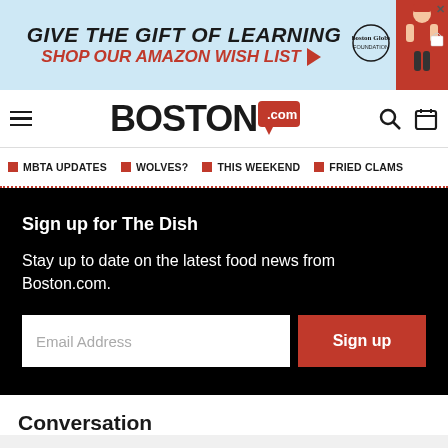[Figure (infographic): Advertisement banner: GIVE THE GIFT OF LEARNING / SHOP OUR AMAZON WISH LIST with red arrow, Boston Globe Foundation logo, and illustrated figure with shopping bag]
BOSTON .com navigation bar with hamburger menu, Boston.com logo, search icon, and calendar icon
MBTA UPDATES
WOLVES?
THIS WEEKEND
FRIED CLAMS
Sign up for The Dish
Stay up to date on the latest food news from Boston.com.
Email Address  Sign up
Conversation